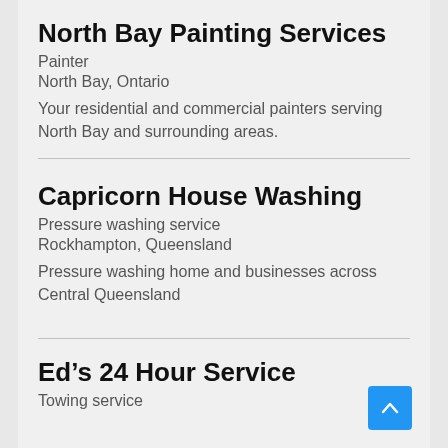North Bay Painting Services
Painter
North Bay, Ontario
Your residential and commercial painters serving North Bay and surrounding areas.
Capricorn House Washing
Pressure washing service
Rockhampton, Queensland
Pressure washing home and businesses across Central Queensland
Ed’s 24 Hour Service
Towing service